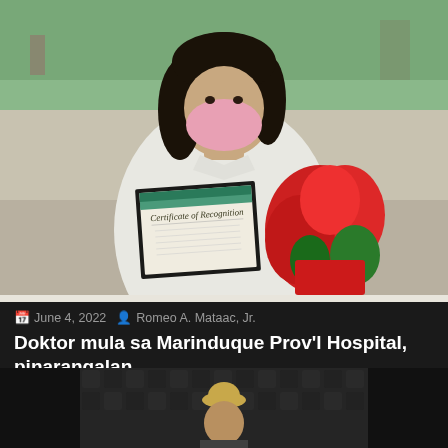[Figure (photo): A woman wearing a pink face mask and white shirt holds a framed Certificate of Recognition and a bouquet of red roses/flowers, photographed outdoors in a park or plaza setting with green trees in the background.]
June 4, 2022   Romeo A. Mataac, Jr.
Doktor mula sa Marinduque Prov'l Hospital, pinarangalan
Pinarangalan bilang 'Most Outstanding Physician' para sa taong 2022 ang isang medical doctor mula sa Marinduque...
Life and Style
[Figure (photo): Bottom portion of a second article photo showing a person wearing a hat, partially visible, with a dark patterned or acoustic background.]